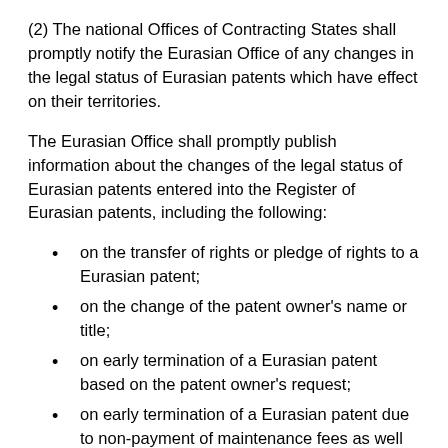(2) The national Offices of Contracting States shall promptly notify the Eurasian Office of any changes in the legal status of Eurasian patents which have effect on their territories.
The Eurasian Office shall promptly publish information about the changes of the legal status of Eurasian patents entered into the Register of Eurasian patents, including the following:
on the transfer of rights or pledge of rights to a Eurasian patent;
on the change of the patent owner's name or title;
on early termination of a Eurasian patent based on the patent owner's request;
on early termination of a Eurasian patent due to non-payment of maintenance fees as well as on the restoration of the patent's effect;
on full or partial administrative cancellation of a Eurasian patent;
on limitation of a Eurasian patent on the patent owner's request
on prolongation of the Eurasian patent term